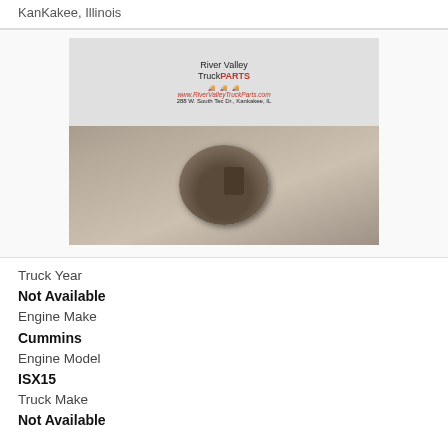KanKakee, Illinois
[Figure (photo): A used turbocharger part photographed on a diamond-plate metal surface, with a River Valley Truck Parts sign in the background. Sign reads: River Valley TruckPARTS, www.RiverValleyTruckParts.com, 288 W. South Tec Dr., Kankakee, IL]
Truck Year
Not Available
Engine Make
Cummins
Engine Model
ISX15
Truck Make
Not Available